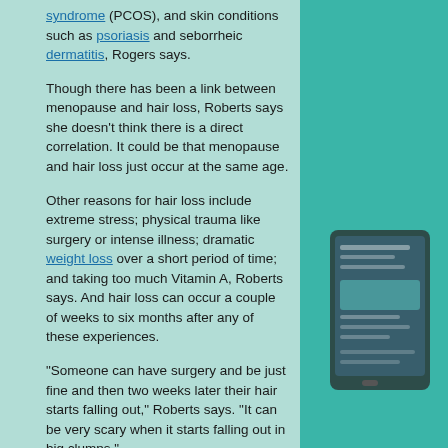syndrome (PCOS), and skin conditions such as psoriasis and seborrheic dermatitis, Rogers says.
Though there has been a link between menopause and hair loss, Roberts says she doesn't think there is a direct correlation. It could be that menopause and hair loss just occur at the same age.
Other reasons for hair loss include extreme stress; physical trauma like surgery or intense illness; dramatic weight loss over a short period of time; and taking too much Vitamin A, Roberts says. And hair loss can occur a couple of weeks to six months after any of these experiences.
“Someone can have surgery and be just fine and then two weeks later their hair starts falling out,” Roberts says. “It can be very scary when it starts falling out in big clumps.”
One other way to thin hair is self-inflicted